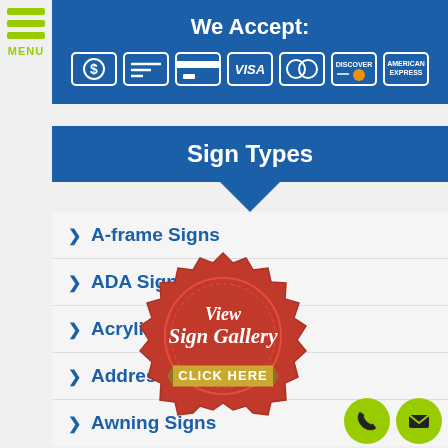[Figure (infographic): Hamburger menu icon with three green horizontal bars and MENU text below]
[Figure (infographic): We Accept payment banner with icons for cash, check, credit card, Visa, Mastercard, Discover, and American Express]
Sign Types
A-frame Signs
ADA Signs
Acrylic Signs
Address Signs
Awning Signs
[Figure (illustration): Red circular seal badge with gold ribbon banner reading CLICK HERE and text View Sign Gallery in script font]